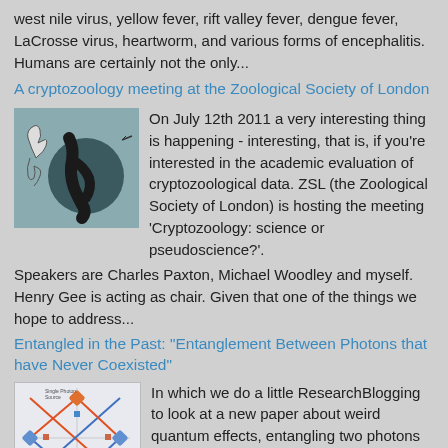west nile virus, yellow fever, rift valley fever, dengue fever, LaCrosse virus, heartworm, and various forms of encephalitis. Humans are certainly not the only...
A cryptozoology meeting at the Zoological Society of London
[Figure (photo): Image showing a serpentine or eel-like creature, dark colored, with a small sketch of a bird/animal on the left side]
On July 12th 2011 a very interesting thing is happening - interesting, that is, if you're interested in the academic evaluation of cryptozoological data. ZSL (the Zoological Society of London) is hosting the meeting 'Cryptozoology: science or pseudoscience?'. Speakers are Charles Paxton, Michael Woodley and myself. Henry Gee is acting as chair. Given that one of the things we hope to address...
Entangled in the Past: "Entanglement Between Photons that have Never Coexisted"
[Figure (schematic): A diagram with lines and nodes, resembling a network or circuit diagram with colored squares/diamonds on a grid]
In which we do a little ResearchBlogging to look at a new paper about weird quantum effects, entangling two photons that never both exist at the same time. ------------ I'm teaching full-time this term, but I've blocked out Thursdays as a day when I don't do class- or chair-related work. Usually, this means